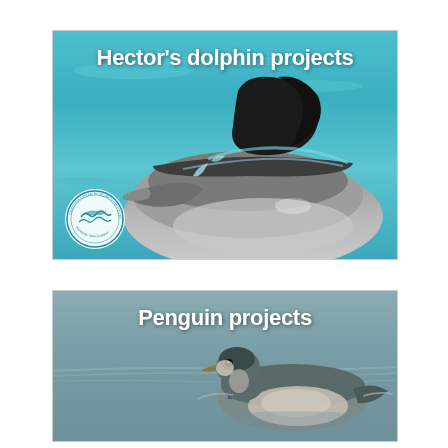[Figure (photo): Hector's dolphin surfacing in turquoise water, showing its distinctive rounded dorsal fin and smooth grey body. A circular institute logo (Kaikōura Ocean Research Institute, Kaikōura, New Zealand) appears in the lower left. Bold white text reads 'Hector's dolphin projects' at the top.]
[Figure (photo): A penguin swimming on the water surface, viewed from the side. The bird has grey-brown plumage on top and lighter underneath, with its head raised. Bold white text reads 'Penguin projects' at the top of the image.]